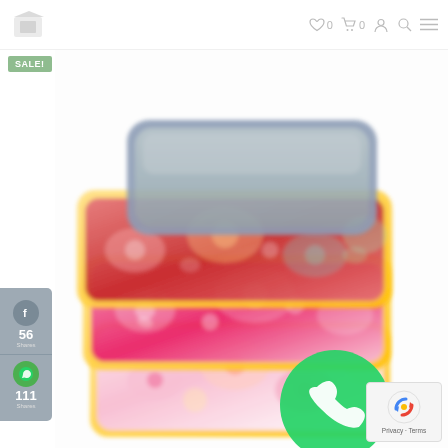[Figure (screenshot): E-commerce website screenshot showing a navigation bar with logo, wishlist icon (0), cart icon (0), account icon, search icon, and hamburger menu on the right.]
SALE!
[Figure (photo): Stack of four colorful fabric pouches/bags with floral patterns and yellow trim, displayed fanned out. Colors include blue/gray, red/multicolor floral, pink/white floral, and light pink/peach floral. A WhatsApp icon is overlaid on the bottom-right of the image.]
[Figure (infographic): Social media share sidebar showing Facebook (56 shares) and WhatsApp (111 shares) buttons in a gray pill on the left side.]
[Figure (logo): reCAPTCHA badge in bottom-right corner showing the reCAPTCHA logo and 'Privacy - Terms' text.]